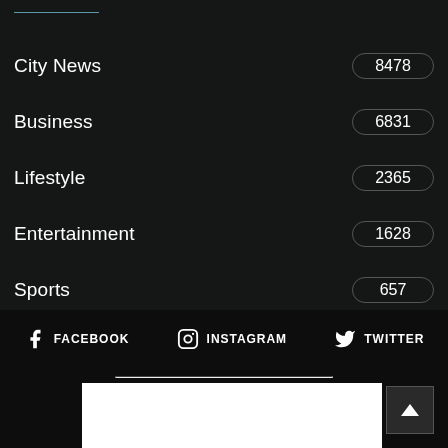City News 8478
Business 6831
Lifestyle 2365
Entertainment 1628
Sports 657
FACEBOOK  INSTAGRAM  TWITTER
[Figure (logo): London newspaper logo in black and white with large stylized L and text LONDON]
Back to top button